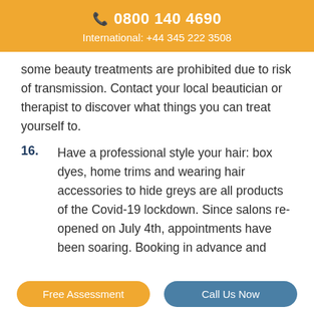0800 140 4690
International: +44 345 222 3508
some beauty treatments are prohibited due to risk of transmission. Contact your local beautician or therapist to discover what things you can treat yourself to.
16. Have a professional style your hair: box dyes, home trims and wearing hair accessories to hide greys are all products of the Covid-19 lockdown. Since salons re-opened on July 4th, appointments have been soaring. Booking in advance and
Free Assessment | Call Us Now